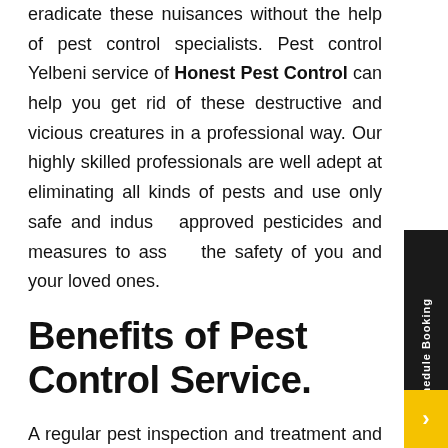eradicate these nuisances without the help of pest control specialists. Pest control Yelbeni service of Honest Pest Control can help you get rid of these destructive and vicious creatures in a professional way. Our highly skilled professionals are well adept at eliminating all kinds of pests and use only safe and industry-approved pesticides and measures to assure the safety of you and your loved ones.
Benefits of Pest Control Service.
A regular pest inspection and treatment and protect your property from the wrath of these